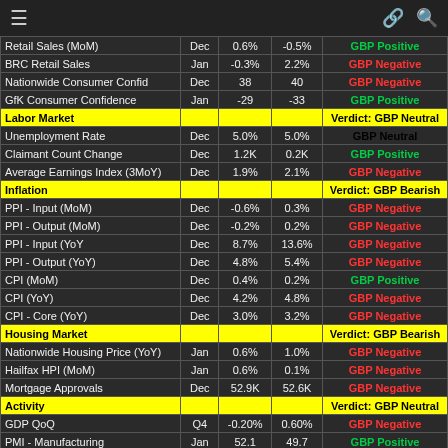| Indicator | Period | Actual | Previous | Verdict |
| --- | --- | --- | --- | --- |
| Retail Sales (MoM) | Dec | 0.6% | -0.5% | GBP Positive |
| BRC Retail Sales | Jan | -0.3% | 2.2% | GBP Negative |
| Nationwide Consumer Confid | Dec | 38 | 40 | GBP Negative |
| GfK Consumer Confidence | Jan | -29 | -33 | GBP Positive |
| Labor Market |  |  |  | Verdict: GBP Neutral |
| Unemployment Rate | Dec | 5.0% | 5.0% | GBP Neutral |
| Claimant Count Change | Dec | 1.2K | 0.2K | GBP Positive |
| Average Earnings Index (3MoY) | Dec | 1.9% | 2.1% | GBP Negative |
| Inflation |  |  |  | Verdict: GBP Bearish |
| PPI - Input (MoM) | Dec | -0.6% | 0.3% | GBP Negative |
| PPI - Output (MoM) | Dec | -0.2% | 0.2% | GBP Negative |
| PPI - Input (YoY | Dec | 8.7% | 13.6% | GBP Negative |
| PPI - Output (YoY) | Dec | 4.8% | 5.4% | GBP Negative |
| CPI (MoM) | Dec | 0.4% | 0.2% | GBP Positive |
| CPI (YoY) | Dec | 4.2% | 4.8% | GBP Negative |
| CPI - Core (YoY) | Dec | 3.0% | 3.2% | GBP Negative |
| Housing Market |  |  |  | Verdict: GBP Bearish |
| Nationwide Housing Price (YoY) | Jan | 0.6% | 1.0% | GBP Negative |
| Hailfax HPI (MoM) | Jan | 0.6% | 0.1% | GBP Negative |
| Mortgage Approvals | Dec | 52.9K | 52.6K | GBP Negative |
| Activity |  |  |  | Verdict: GBP Neutral |
| GDP QoQ | Q4 | -0.20% | 0.60% | GBP Negative |
| PMI - Manufacturing | Jan | 52.1 | 49.7 | GBP Positive |
| PMI - Services | Jan | 56 | 54 | GBP Positive |
| PMI - Construction | Jan | 51.4 | 53.2 | GBP Negative |
| Trade Balance | Nov | -8644 | -7868 | GBP Negative |